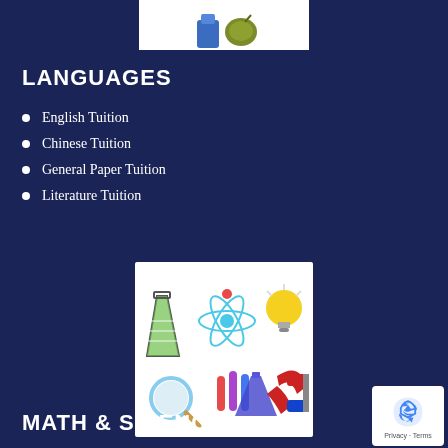[Figure (illustration): Top partial image of school/language related clipart icons on white background]
LANGUAGES
English Tuition
Chinese Tuition
General Paper Tuition
Literature Tuition
[Figure (illustration): Science clipart icons including beaker with green liquid, atom symbol, light bulb, magnifying glass, test tubes, and magnet on white background]
MATH & SCIENCE